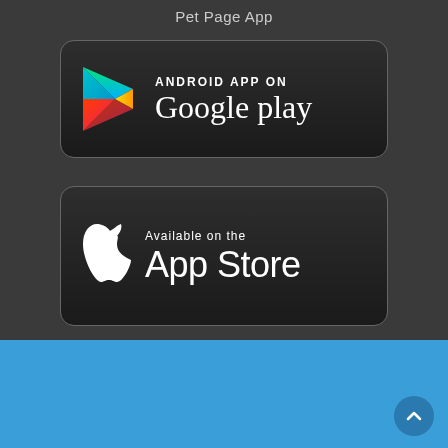Pet Page App
[Figure (logo): Google Play Store badge — black rounded rectangle with Google Play triangle logo and text 'ANDROID APP ON Google play']
[Figure (logo): Apple App Store badge — black rounded rectangle with Apple logo and text 'Available on the App Store']
[Figure (other): Footer bar with social media icons: two white icons (accessibility/back), Twitter bird, Facebook f, YouTube play button, Instagram camera. Dark blue circular scroll-to-top button at bottom right.]